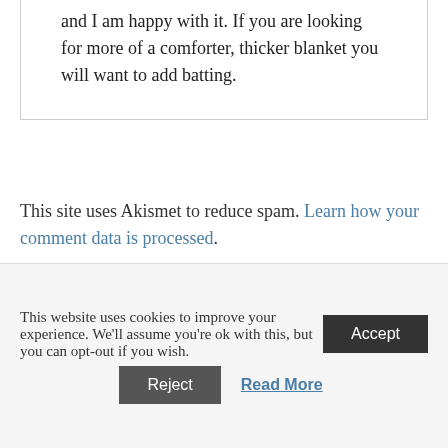and I am happy with it. If you are looking for more of a comforter, thicker blanket you will want to add batting.
This site uses Akismet to reduce spam. Learn how your comment data is processed.
This website uses cookies to improve your experience. We'll assume you're ok with this, but you can opt-out if you wish.
Accept
Reject
Read More